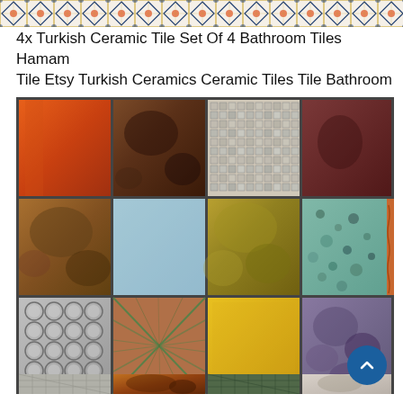[Figure (illustration): Decorative tile pattern banner strip at top of page with repeating geometric/floral Turkish tile designs in blue, black, orange, and gold on white background]
4x Turkish Ceramic Tile Set Of 4 Bathroom Tiles Hamam Tile Etsy Turkish Ceramics Ceramic Tiles Tile Bathroom
[Figure (photo): Grid of 12 decorative Turkish ceramic tiles arranged in 3 rows by 4 columns. Row 1: orange/terracotta solid, brown mottled, small mosaic grid pattern, dark maroon/brown. Row 2: brown/amber mottled, solid light blue, gold/khaki metallic, teal spotted with orange patterned partial. Row 3: grey bubble/circle embossed pattern, terracotta with green geometric X pattern, solid bright yellow, purple/mauve mottled. Row 4 (partial): grey grid pattern, amber/rust mottled, green small grid pattern, cream/grey mottled. Tiles are separated by thin dark grout lines.]